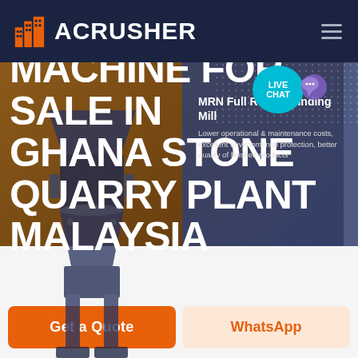ACRUSHER
STONE CRUSHER MACHINE FOR SALE IN GHANA STONE QUARRY PLANT MALAYSIA
MRN Full Roller Grinding Mill
Lower operational & maintenance costs, excellent environmental protection, better quality of finished products
LIVE CHAT
HOME / PRODUCTS
Get a Quote
WhatsApp